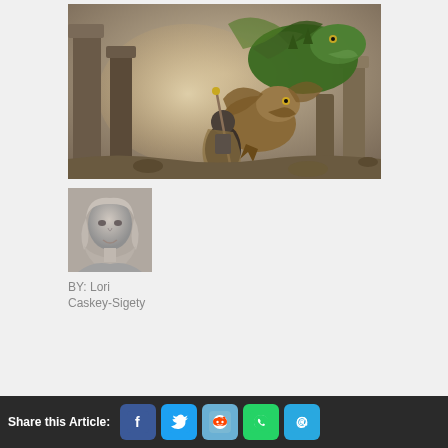[Figure (illustration): Fantasy illustration showing a warrior facing two dragons among ruins. A large green dragon looms from the upper right, and a smaller dragon-like creature attacks from the front. Ancient stone pillars and ruins surround the scene.]
[Figure (photo): Black and white portrait photo of a woman with curly hair, smiling slightly.]
BY: Lori Caskey-Sigety
Share this Article: